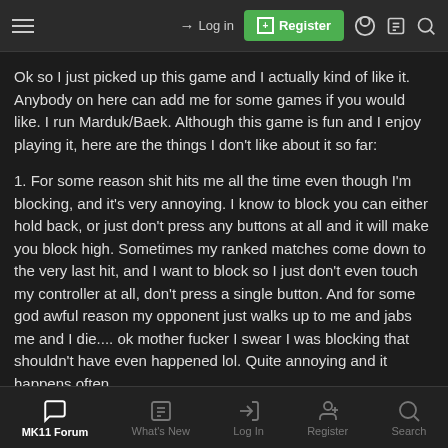Log in | Register
Ok so I just picked up this game and I actually kind of like it. Anybody on here can add me for some games if you would like. I run Marduk/Baek. Although this game is fun and I enjoy playing it, here are the things I don't like about it so far:
1. For some reason shit hits me all the time even though I'm blocking, and it's very annoying. I know to block you can either hold back, or just don't press any buttons at all and it will make you block high. Sometimes my ranked matches come down to the very last hit, and I want to block so I just don't even touch my controller at all, don't press a single button. And for some god awful reason my opponent just walks up to me and jabs me and I die.... ok mother fucker I swear I was blocking that shouldn't have even happened lol. Quite annoying and it happens often.
MK11 Forum | What's New | Log In | Register | Search